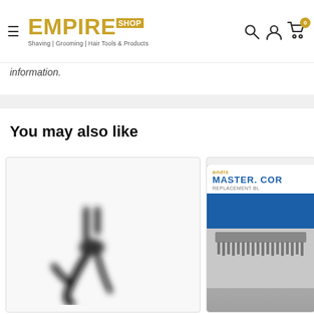Empire Shop — Shaving | Grooming | Hair Tools & Products
information.
You may also like
[Figure (photo): Product card showing a blurred black power cord/plug silhouette on white background]
[Figure (photo): Product card showing Andis Master Cordless replacement blade package, partially cropped]